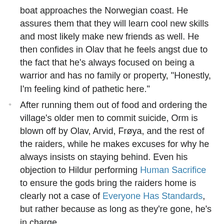boat approaches the Norwegian coast. He assures them that they will learn cool new skills and most likely make new friends as well. He then confides in Olav that he feels angst due to the fact that he's always focused on being a warrior and has no family or property, "Honestly, I'm feeling kind of pathetic here."
After running them out of food and ordering the village's older men to commit suicide, Orm is blown off by Olav, Arvid, Frøya, and the rest of the raiders, while he makes excuses for why he always insists on staying behind. Even his objection to Hildur performing Human Sacrifice to ensure the gods bring the raiders home is clearly not a case of Everyone Has Standards, but rather because as long as they're gone, he's in charge.
Rufus, an enslaved captive, is understandably not happy with his new status, but is an Entitled Bastard who complains so much that even the other slaves